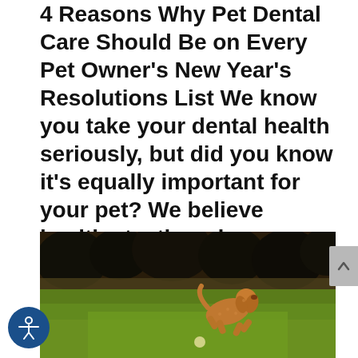4 Reasons Why Pet Dental Care Should Be on Every Pet Owner's New Year's Resolutions List We know you take your dental health seriously, but did you know it's equally important for your pet? We believe healthy teeth and gums should be on every pet...
[Figure (photo): A golden/curly-haired dog leaping through the air on a green lawn, with dark trees in the background]